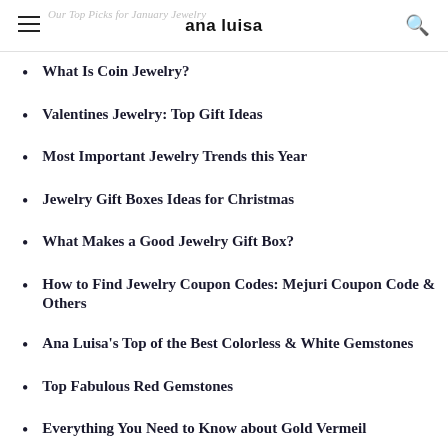ana luisa
Our Top Picks for January Jewelry
What Is Coin Jewelry?
Valentines Jewelry: Top Gift Ideas
Most Important Jewelry Trends this Year
Jewelry Gift Boxes Ideas for Christmas
What Makes a Good Jewelry Gift Box?
How to Find Jewelry Coupon Codes: Mejuri Coupon Code & Others
Ana Luisa's Top of the Best Colorless & White Gemstones
Top Fabulous Red Gemstones
Everything You Need to Know about Gold Vermeil